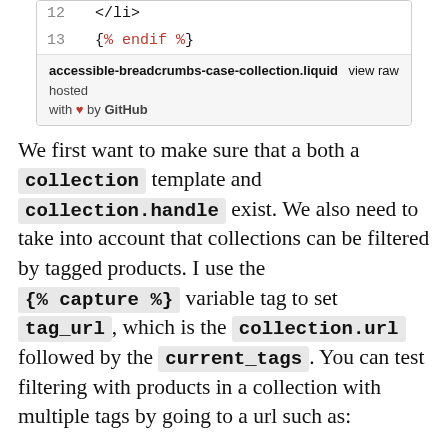[Figure (screenshot): Code snippet lines 12-13 with footer. Line 12: </li>, Line 13: {% endif %}. Footer: accessible-breadcrumbs-case-collection.liquid hosted view raw with heart by GitHub]
We first want to make sure that a both a collection template and collection.handle exist. We also need to take into account that collections can be filtered by tagged products. I use the {% capture %} variable tag to set tag_url, which is the collection.url followed by the current_tags. You can test filtering with products in a collection with multiple tags by going to a url such as: